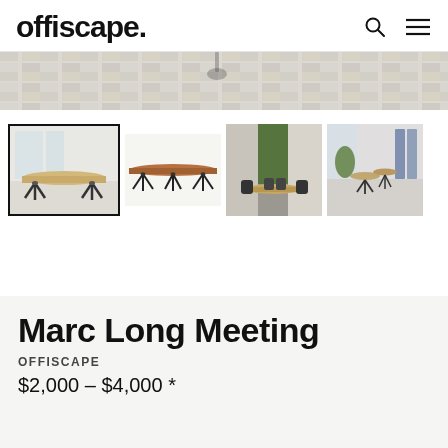offiscape.
[Figure (photo): Hero banner strip showing a herringbone wood floor pattern, light grey/white tones]
[Figure (photo): Thumbnail 1 (selected, with border): Conference table with black star-base legs in a white room with windows]
[Figure (photo): Thumbnail 2: Long conference table top view, walnut top with black star-base legs, on white background]
[Figure (photo): Thumbnail 3: Conference room with green plant wall, black chairs around table]
[Figure (photo): Thumbnail 4: Bright conference room with multiple small tables, blue acoustic panels]
Marc Long Meeting
OFFISCAPE
$2,000 – $4,000 *